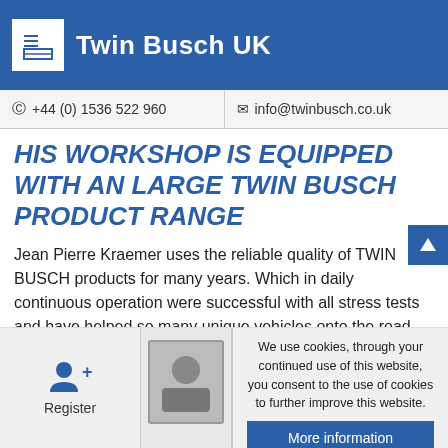Twin Busch UK
+44 (0) 1536 522 960   info@twinbusch.co.uk
HIS WORKSHOP IS EQUIPPED WITH AN LARGE TWIN BUSCH PRODUCT RANGE
Jean Pierre Kraemer uses the reliable quality of TWIN BUSCH products for many years. Which in daily continuous operation were successful with all stress tests and have helped so many unique vehicles onto the road.
We use cookies, through your continued use of this website, you consent to the use of cookies to further improve this website.
More information
I understand
Register